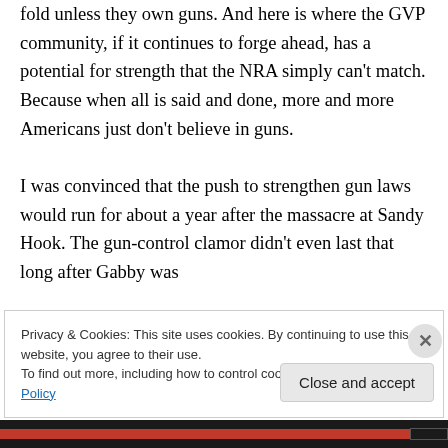fold unless they own guns. And here is where the GVP community, if it continues to forge ahead, has a potential for strength that the NRA simply can't match. Because when all is said and done, more and more Americans just don't believe in guns.

I was convinced that the push to strengthen gun laws would run for about a year after the massacre at Sandy Hook. The gun-control clamor didn't even last that long after Gabby was
Privacy & Cookies: This site uses cookies. By continuing to use this website, you agree to their use.
To find out more, including how to control cookies, see here: Cookie Policy